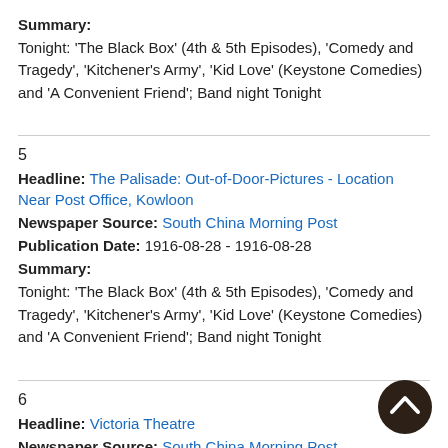Summary:
Tonight: 'The Black Box' (4th & 5th Episodes), 'Comedy and Tragedy', 'Kitchener's Army', 'Kid Love' (Keystone Comedies) and 'A Convenient Friend'; Band night Tonight
5
Headline: The Palisade: Out-of-Door-Pictures - Location Near Post Office, Kowloon
Newspaper Source: South China Morning Post
Publication Date: 1916-08-28 - 1916-08-28
Summary:
Tonight: 'The Black Box' (4th & 5th Episodes), 'Comedy and Tragedy', 'Kitchener's Army', 'Kid Love' (Keystone Comedies) and 'A Convenient Friend'; Band night Tonight
6
Headline: Victoria Theatre
Newspaper Source: South China Morning Post
Publication Date: 1917-01-04 - 1917-01-04
Summary:
Screening of 'Iron Claw' (1st & 2nd episodes) featuring Pearl White,